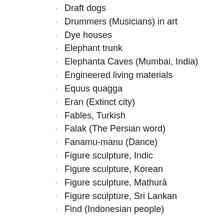Draft dogs
Drummers (Musicians) in art
Dye houses
Elephant trunk
Elephanta Caves (Mumbai, India)
Engineered living materials
Equus quagga
Eran (Extinct city)
Fables, Turkish
Falak (The Persian word)
Fanamu-manu (Dance)
Figure sculpture, Indic
Figure sculpture, Korean
Figure sculpture, Mathurā
Figure sculpture, Sri Lankan
Find (Indonesian people)